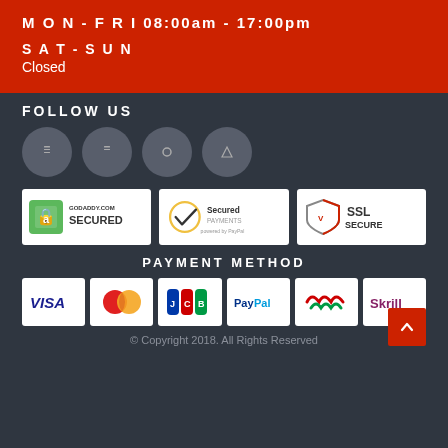MON - FRI 08:00am - 17:00pm
SAT - SUN
Closed
FOLLOW US
[Figure (other): Four gray circular social media icon buttons]
[Figure (other): Three security badge images: GoDaddy.com Secured, Secured Payments powered by PayPal, SSL Secure]
PAYMENT METHOD
[Figure (other): Six payment method logos: VISA, MasterCard, JCB, PayPal, (contactless/WM), Skrill]
© Copyright 2018. All Rights Reserved